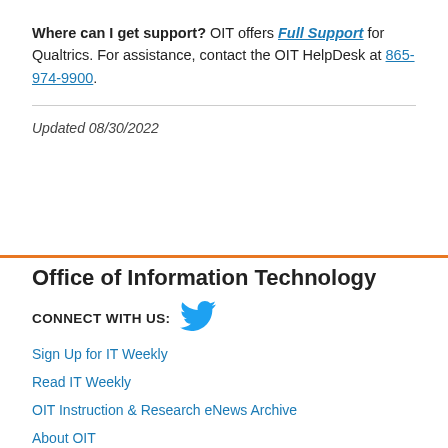Where can I get support? OIT offers Full Support for Qualtrics. For assistance, contact the OIT HelpDesk at 865-974-9900.
Updated 08/30/2022
Office of Information Technology
CONNECT WITH US: [Twitter bird icon]
Sign Up for IT Weekly
Read IT Weekly
OIT Instruction & Research eNews Archive
About OIT
Employment